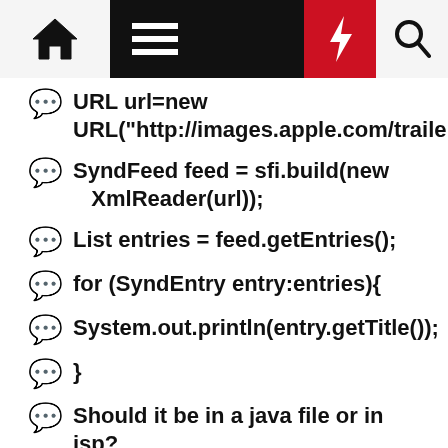Navigation bar with home, menu, lightning, and search icons
URL url=new URL("http://images.apple.com/trailers/rss/new...)
SyndFeed feed = sfi.build(new XmlReader(url));
List entries = feed.getEntries();
for (SyndEntry entry:entries){
System.out.println(entry.getTitle());
}
Should it be in a java file or in jsp?
Thanks in advance